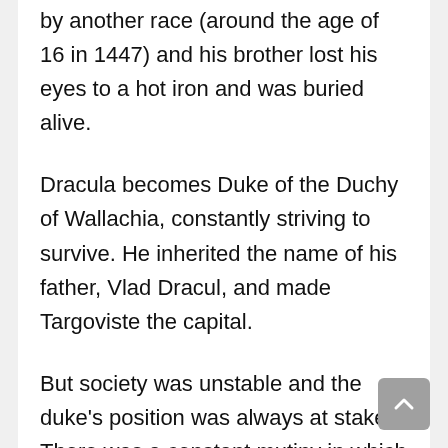by another race (around the age of 16 in 1447) and his brother lost his eyes to a hot iron and was buried alive.
Dracula becomes Duke of the Duchy of Wallachia, constantly striving to survive. He inherited the name of his father, Vlad Dracul, and made Targoviste the capital.
But society was unstable and the duke's position was always at stake. There was a constant mutiny in which the nobles revolted and killed the duke. Dracula made the best royal palace of his time. After